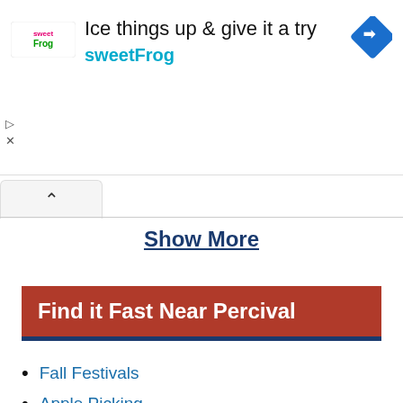[Figure (other): Advertisement banner for sweetFrog frozen yogurt. Shows sweetFrog logo on the left, headline 'Ice things up & give it a try' and brand name 'sweetFrog' in the center, and a blue diamond navigation icon on the right.]
Show More
Find it Fast Near Percival
Fall Festivals
Apple Picking
Corn Mazes
Pumpkin Picking
Wineries & Vineyards
Dog Parks